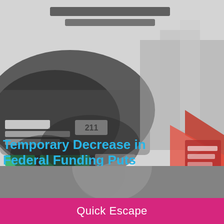[Figure (photo): Blurry collage of government/civic buildings in grayscale with overlaid colored infographic elements (text, logos, green and red/pink arrow shapes). Upper portion of a webpage screenshot.]
Temporary Decrease in Federal Funding Puts Victims of Crime at Serious Risk
[Figure (photo): Partial portrait photograph of a person, bottom strip visible above the footer bar.]
Quick Escape